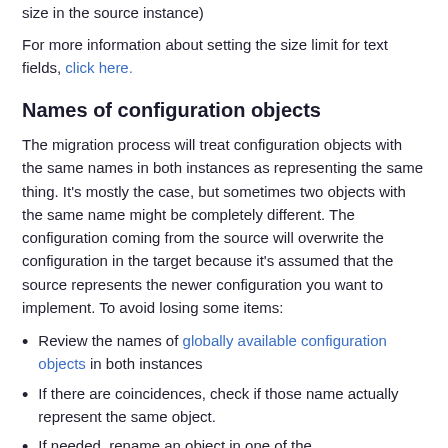size in the source instance)
For more information about setting the size limit for text fields, click here.
Names of configuration objects
The migration process will treat configuration objects with the same names in both instances as representing the same thing. It's mostly the case, but sometimes two objects with the same name might be completely different. The configuration coming from the source will overwrite the configuration in the target because it's assumed that the source represents the newer configuration you want to implement. To avoid losing some items:
Review the names of globally available configuration objects in both instances
If there are coincidences, check if those name actually represent the same object.
If needed, rename an object in one of the